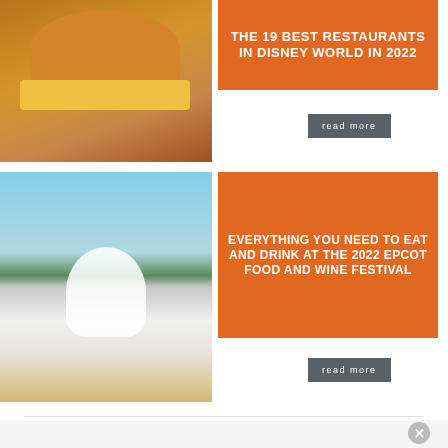[Figure (photo): Photo of a large cheeseburger with fries in a metal basket on a table]
THE 19 BEST RESTAURANTS IN DISNEY WORLD IN 2022
read more
[Figure (photo): Photo of a waffle sundae with whipped cream, caramel drizzle and a cherry on top, with a lake in the background]
EVERYTHING YOU NEED TO EAT AND DRINK AT THE 2022 EPCOT FOOD AND WINE FESTIVAL
read more